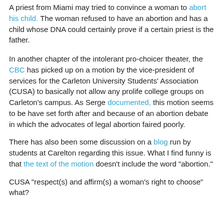A priest from Miami may tried to convince a woman to abort his child. The woman refused to have an abortion and has a child whose DNA could certainly prove if a certain priest is the father.
In another chapter of the intolerant pro-choicer theater, the CBC has picked up on a motion by the vice-president of services for the Carleton University Students' Association (CUSA) to basically not allow any prolife college groups on Carleton's campus. As Serge documented, this motion seems to be have set forth after and because of an abortion debate in which the advocates of legal abortion faired poorly.
There has also been some discussion on a blog run by students at Carelton regarding this issue. What I find funny is that the text of the motion doesn't include the word "abortion."
CUSA "respect(s) and affirm(s) a woman's right to choose" what?